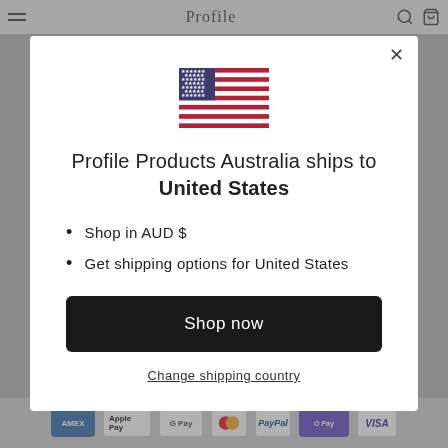[Figure (screenshot): US flag emoji displayed in modal dialog]
Profile Products Australia ships to United States
Shop in AUD $
Get shipping options for United States
Shop now
Change shipping country